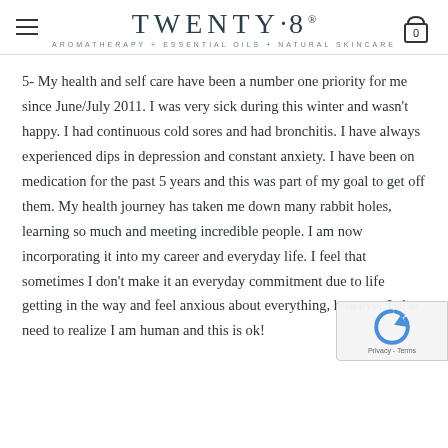TWENTY·8 AROMATHERAPY + ESSENTIAL OILS + NATURAL SKINCARE
5- My health and self care have been a number one priority for me since June/July 2011. I was very sick during this winter and wasn't happy. I had continuous cold sores and had bronchitis. I have always experienced dips in depression and constant anxiety. I have been on medication for the past 5 years and this was part of my goal to get off them. My health journey has taken me down many rabbit holes, learning so much and meeting incredible people. I am now incorporating it into my career and everyday life. I feel that sometimes I don't make it an everyday commitment due to life getting in the way and feel anxious about everything, however I also need to realize I am human and this is ok!